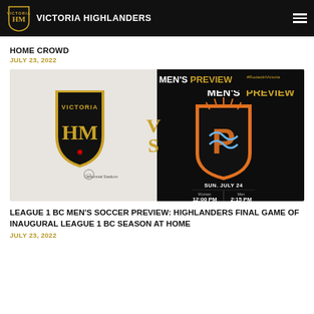VICTORIA HIGHLANDERS
HOME CROWD
JULY 23, 2022
[Figure (photo): Match preview graphic showing Victoria Highlanders vs opponent. Left half: white background with Victoria Highlanders shield crest, 'Centennial Stadium' text and logo. Right half: black background with orange/blue shield crest, 'MEN'S PREVIEW', '#RootedinVictoria', 'SUN. JULY 24', Women 12:00 PM, Men 2:15 PM.]
LEAGUE 1 BC MEN'S SOCCER PREVIEW: HIGHLANDERS FINAL GAME OF INAUGURAL LEAGUE 1 BC SEASON AT HOME
JULY 23, 2022